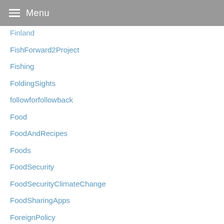Menu
Finland
FishForward2Project
Fishing
FoldingSights
followforfollowback
Food
FoodAndRecipes
Foods
FoodSecurity
FoodSecurityClimateChange
FoodSharingApps
ForeignPolicy
ForLivingM
Formal
FortBelvedere
FourLoko
Freeman